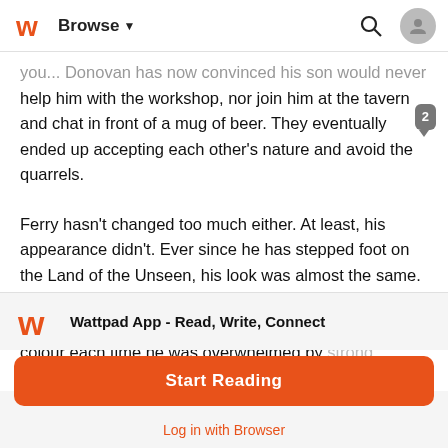Browse
you... . Donovan has now convinced his son would never help him with the workshop, nor join him at the tavern and chat in front of a mug of beer. They eventually ended up accepting each other's nature and avoid the quarrels.
Ferry hasn't changed too much either. At least, his appearance didn't. Ever since he has stepped foot on the Land of the Unseen, his look was almost the same. Same messy hair, almost white, which fell into his eyes in rebel strays. Same piercing eyes which changed the colour each time he was overwhelmed by strong emotions. Sometimes, it was red, furious, hot.
Wattpad App - Read, Write, Connect
Start Reading
Log in with Browser